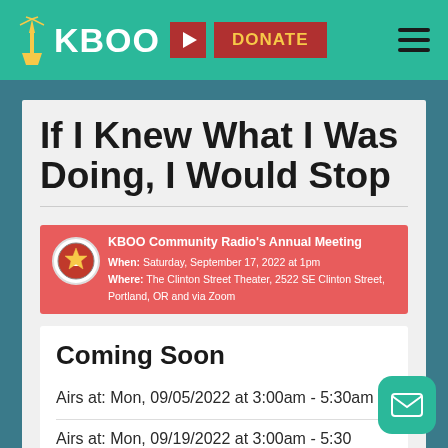KBOO — DONATE — Navigation menu
If I Knew What I Was Doing, I Would Stop
KBOO Community Radio's Annual Meeting
When: Saturday, September 17, 2022 at 1pm
Where: The Clinton Street Theater, 2522 SE Clinton Street, Portland, OR and via Zoom
Coming Soon
Airs at: Mon, 09/05/2022 at 3:00am - 5:30am
Airs at: Mon, 09/19/2022 at 3:00am - 5:30